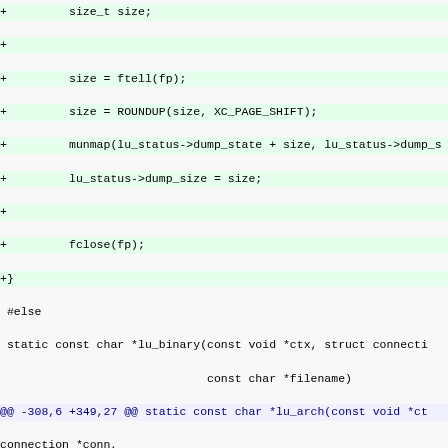Code diff showing C source code modifications including size_t size, ftell, ROUNDUP, munmap, lu_status->dump_size, fclose, #else block, static const char *lu_binary function, @@ hunk header -308,6 +349,27, connection *conn, errno, return NULL, closing brace, +static FILE *lu_dump_open function, char *filename, int fd, filename = talloc_asprintf, if (!filename), return NULL